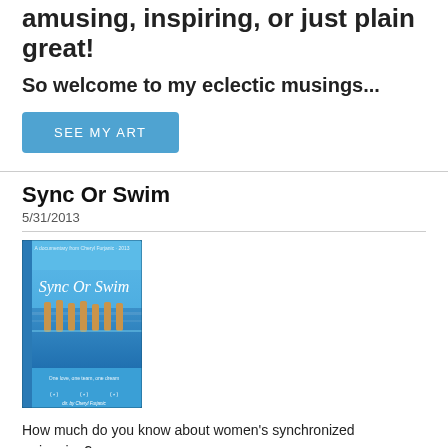amusing, inspiring, or just plain great!
So welcome to my eclectic musings...
[Figure (other): A blue button with text SEE MY ART]
Sync Or Swim
5/31/2013
[Figure (photo): DVD cover of the documentary 'Sync Or Swim' featuring synchronized swimmers in a pool, with award laurels at the bottom.]
How much do you know about women's synchronized swimming?
I knew nothing and was engrossed in Cheryl Furjanic's documentary